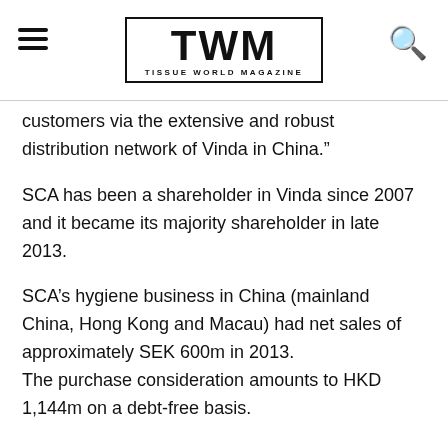TWM TISSUE WORLD MAGAZINE
customers via the extensive and robust distribution network of Vinda in China.”
SCA has been a shareholder in Vinda since 2007 and it became its majority shareholder in late 2013.
SCA’s hygiene business in China (mainland China, Hong Kong and Macau) had net sales of approximately SEK 600m in 2013. The purchase consideration amounts to HKD 1,144m on a debt-free basis.